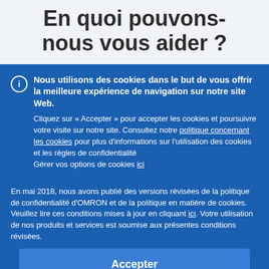En quoi pouvons-nous vous aider ?
Nous utilisons des cookies dans le but de vous offrir la meilleure expérience de navigation sur notre site Web.
Cliquez sur « Accepter » pour accepter les cookies et poursuivre votre visite sur notre site. Consultez notre politique concernant les cookies pour plus d'informations sur l'utilisation des cookies et les règles de confidentialité
Gérer vos options de cookies ici
En mai 2018, nous avons publié des versions révisées de la politique de confidentialité d'OMRON et de la politique en matière de cookies. Veuillez lire ces conditions mises à jour en cliquant ici. Votre utilisation de nos produits et services est soumise aux présentes conditions révisées.
Accepter